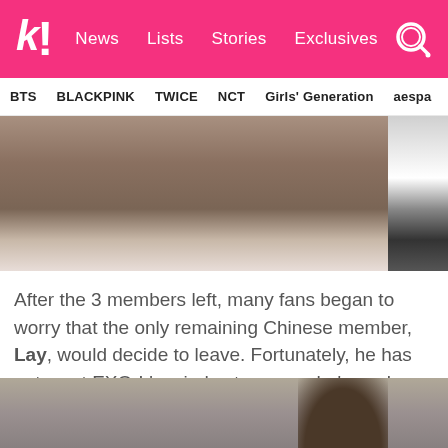k! News  Lists  Stories  Exclusives
BTS  BLACKPINK  TWICE  NCT  Girls' Generation  aespa
[Figure (photo): Bottom portion of an indoor photo, showing a dark brown floor/wall and what appears to be a display case or panel on the right side]
After the 3 members left, many fans began to worry that the only remaining Chinese member, Lay, would decide to leave. Fortunately, he has put most EXO-L's minds at ease as he's spoken out on numerous occasions that he is a proud member of EXO and will always be one.
[Figure (photo): Top of a person's head with dark brown hair, slightly out of focus background]